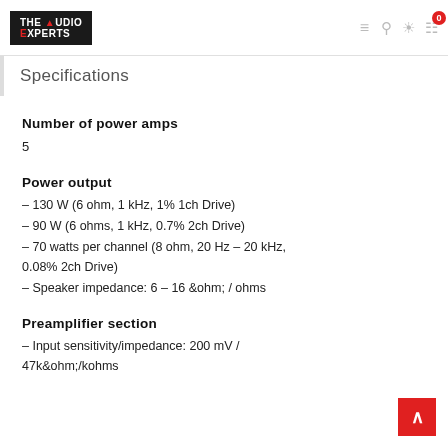THE AUDIO EXPERTS — navigation header
Specifications
Number of power amps
5
Power output
– 130 W (6 ohm, 1 kHz, 1% 1ch Drive)
– 90 W (6 ohms, 1 kHz, 0.7% 2ch Drive)
– 70 watts per channel (8 ohm, 20 Hz – 20 kHz, 0.08% 2ch Drive)
– Speaker impedance: 6 – 16 &ohm; / ohms
Preamplifier section
– Input sensitivity/impedance: 200 mV / 47k&ohm;/kohms